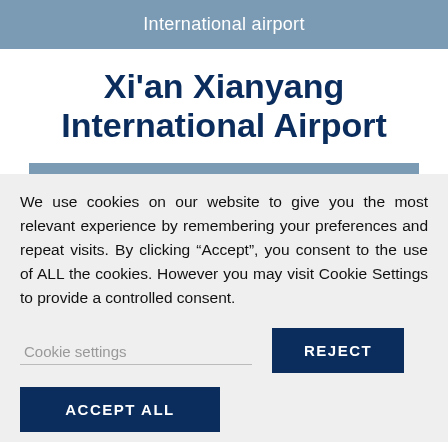International airport
Xi'an Xianyang International Airport
We use cookies on our website to give you the most relevant experience by remembering your preferences and repeat visits. By clicking “Accept”, you consent to the use of ALL the cookies. However you may visit Cookie Settings to provide a controlled consent.
Cookie settings | REJECT | ACCEPT ALL